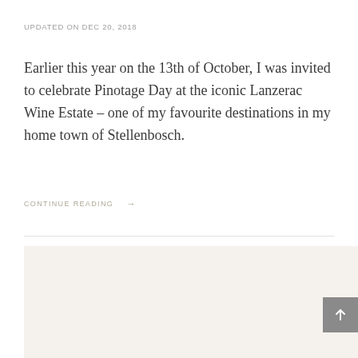UPDATED ON DEC 20, 2018
Earlier this year on the 13th of October, I was invited to celebrate Pinotage Day at the iconic Lanzerac Wine Estate – one of my favourite destinations in my home town of Stellenbosch.
CONTINUE READING →
[Figure (other): Beige/cream colored background block representing an image placeholder or footer section]
[Figure (other): Back to top button: grey square with white upward arrow]